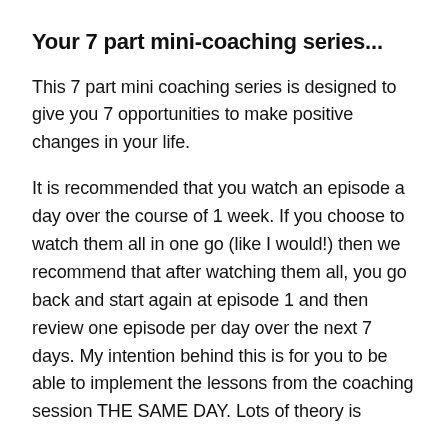Your 7 part mini-coaching series...
This 7 part mini coaching series is designed to give you 7 opportunities to make positive changes in your life.
It is recommended that you watch an episode a day over the course of 1 week. If you choose to watch them all in one go (like I would!) then we recommend that after watching them all, you go back and start again at episode 1 and then review one episode per day over the next 7 days. My intention behind this is for you to be able to implement the lessons from the coaching session THE SAME DAY. Lots of theory is